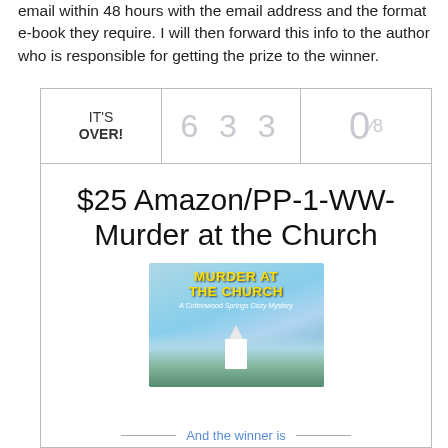email within 48 hours with the email address and the format e-book they require. I will then forward this info to the author who is responsible for getting the prize to the winner.
[Figure (other): Contest widget showing IT'S OVER!, count 6 3 3, and 0/8]
$25 Amazon/PP-1-WW-Murder at the Church
[Figure (illustration): Book cover for 'Murder at the Church: A Cottonwood Springs Cozy Mystery' with blue sky, church, and trees]
And the winner is